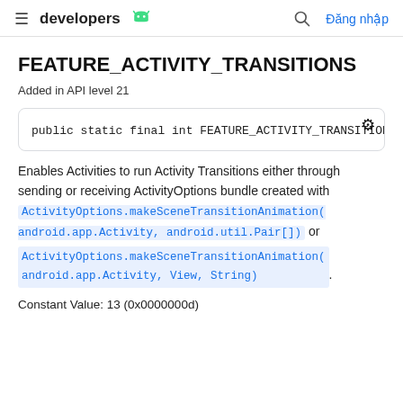developers [android logo] [search] Đăng nhập
FEATURE_ACTIVITY_TRANSITIONS
Added in API level 21
Enables Activities to run Activity Transitions either through sending or receiving ActivityOptions bundle created with ActivityOptions.makeSceneTransitionAnimation(android.app.Activity, android.util.Pair[]) or ActivityOptions.makeSceneTransitionAnimation(android.app.Activity, View, String).
Constant Value: 13 (0x0000000d)